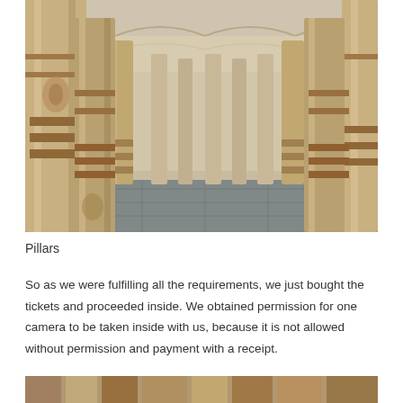[Figure (photo): Interior of an ornate Indian temple showing intricately carved marble/stone pillars in rows, with a decorated ceiling and stone floor visible. Multiple large columns with detailed carvings fill the space.]
Pillars
So as we were fulfilling all the requirements, we just bought the tickets and proceeded inside. We obtained permission for one camera to be taken inside with us, because it is not allowed without permission and payment with a receipt.
[Figure (photo): Partial view of another temple interior or architectural detail, cropped at the bottom of the page.]